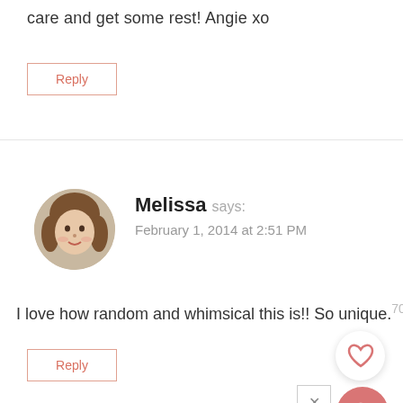care and get some rest! Angie xo
Reply
Melissa says:
February 1, 2014 at 2:51 PM
I love how random and whimsical this is!! So unique.
Reply
Pat says:
February 1, 2014 at 8:39 PM